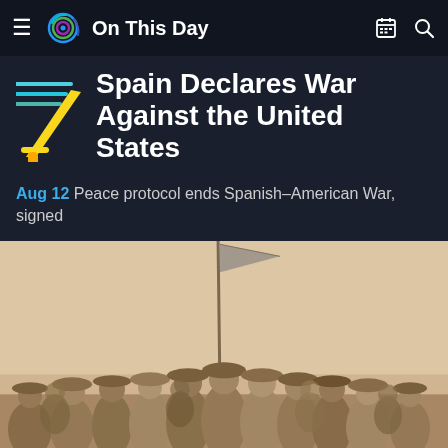On This Day
Spain Declares War Against the United States
Aug 12 Peace protocol ends Spanish–American War, signed
[Figure (photo): Historical black and white photograph of soldiers and men in wide-brimmed hats gathered around an American flag, Spanish-American War era.]